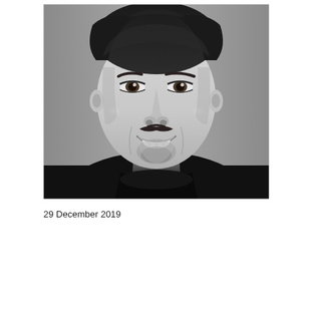[Figure (photo): Black and white professional headshot portrait of a smiling man with dark curly hair, mustache and beard stubble, wearing a black turtleneck sweater, photographed against a grey background.]
29 December 2019